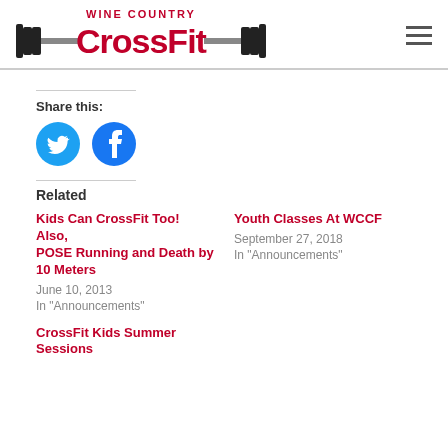[Figure (logo): Wine Country CrossFit logo with barbell graphic and red text]
Share this:
[Figure (infographic): Twitter and Facebook social share buttons as blue circles with icons]
Related
Kids Can CrossFit Too! Also, POSE Running and Death by 10 Meters
June 10, 2013
In "Announcements"
Youth Classes At WCCF
September 27, 2018
In "Announcements"
CrossFit Kids Summer Sessions